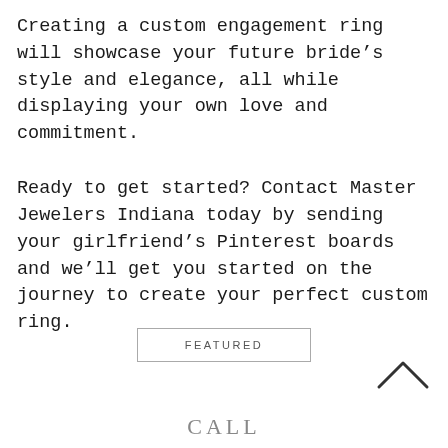Creating a custom engagement ring will showcase your future bride’s style and elegance, all while displaying your own love and commitment.
Ready to get started? Contact Master Jewelers Indiana today by sending your girlfriend’s Pinterest boards and we’ll get you started on the journey to create your perfect custom ring.
FEATURED
[Figure (other): Upward chevron / caret navigation arrow]
CALL